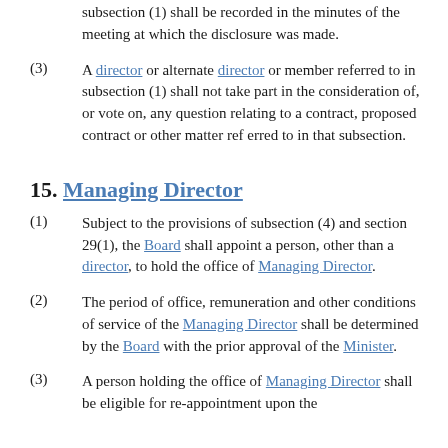subsection (1) shall be recorded in the minutes of the meeting at which the disclosure was made.
(3) A director or alternate director or member referred to in subsection (1) shall not take part in the consideration of, or vote on, any question relating to a contract, proposed contract or other matter referred to in that subsection.
15. Managing Director
(1) Subject to the provisions of subsection (4) and section 29(1), the Board shall appoint a person, other than a director, to hold the office of Managing Director.
(2) The period of office, remuneration and other conditions of service of the Managing Director shall be determined by the Board with the prior approval of the Minister.
(3) A person holding the office of Managing Director shall be eligible for re-appointment upon the